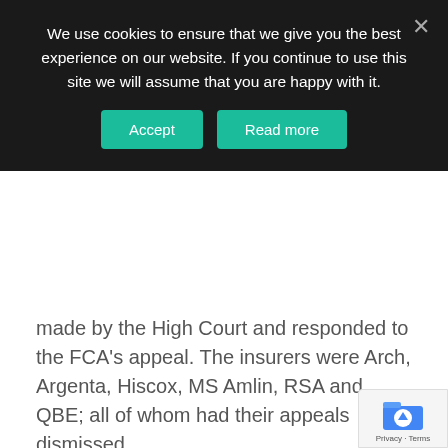We use cookies to ensure that we give you the best experience on our website. If you continue to use this site we will assume that you are happy with it.
made by the High Court and responded to the FCA's appeal. The insurers were Arch, Argenta, Hiscox, MS Amlin, RSA and QBE; all of whom had their appeals dismissed.
The Test Case was designed to achieve clarity for policyholders, by seeking a binding court decision on the meaning and effect of the twenty-one sample